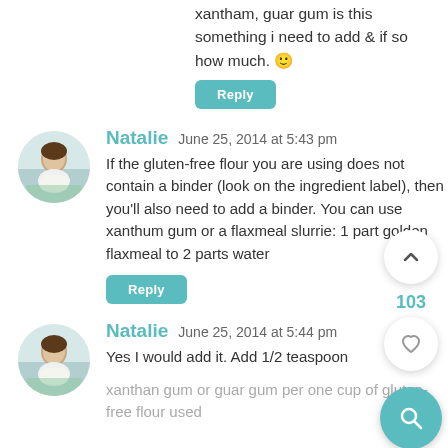xantham guar gum is this something I need to add & if so how much. 🙂
Reply
Natalie   June 25, 2014 at 5:43 pm
If the gluten-free flour you are using does not contain a binder (look on the ingredient label), then you'll also need to add a binder. You can use xanthum gum or a flaxmeal slurrie: 1 part golden flaxmeal to 2 parts water
Reply
Natalie   June 25, 2014 at 5:44 pm
Yes I would add it. Add 1/2 teaspoon xanthan gum or guar gum per one cup of gluten-free flour used